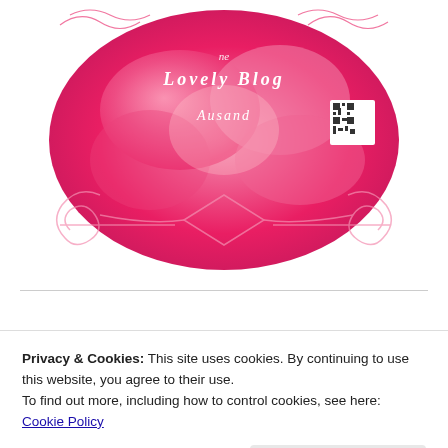[Figure (logo): One Lovely Blog Award logo with pink roses background, decorative script text reading 'One Lovely Blog Award', QR code, and ornate pink scrollwork decoration]
[Figure (illustration): Decorative 'Deal' text in cursive/script font with green leaf decorations on left and right sides]
Privacy & Cookies: This site uses cookies. By continuing to use this website, you agree to their use.
To find out more, including how to control cookies, see here: Cookie Policy
Close and accept